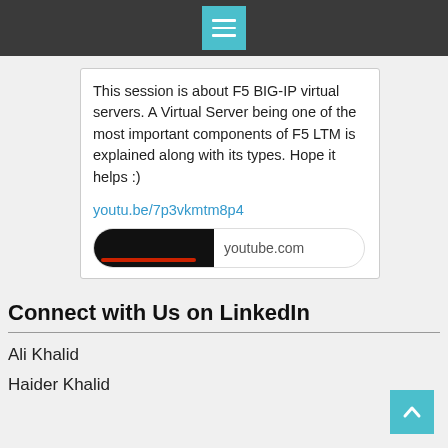[Figure (screenshot): Top navigation bar with dark grey background and a cyan/teal hamburger menu icon button in the center]
This session is about F5 BIG-IP virtual servers. A Virtual Server being one of the most important components of F5 LTM is explained along with its types. Hope it helps :)
youtu.be/7p3vkmtm8p4
[Figure (screenshot): YouTube video preview thumbnail showing dark background with red progress bar and youtube.com URL text]
Connect with Us on LinkedIn
Ali Khalid
Haider Khalid